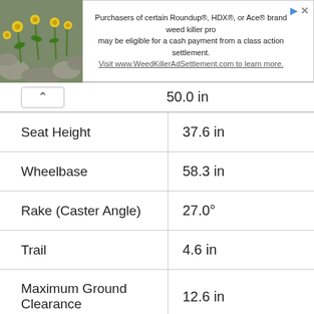[Figure (other): Advertisement banner: image of yellow flowers on the left, and text on the right: 'Purchasers of certain Roundup®, HDX®, or Ace® brand weed killer products may be eligible for a cash payment from a class action settlement. Visit www.WeedKillerAdSettlement.com to learn more.']
|  | 50.0 in |
| Seat Height | 37.6 in |
| Wheelbase | 58.3 in |
| Rake (Caster Angle) | 27.0° |
| Trail | 4.6 in |
| Maximum Ground Clearance | 12.6 in |
| Fuel Capacity | 2.15 gal |
| Fuel Economy** | n/a |
| Wet Weight | 399 lb |